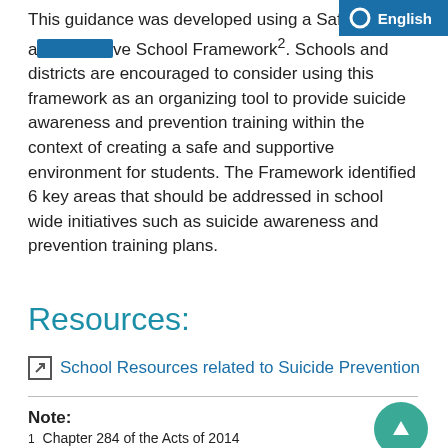English
This guidance was developed using a Safe and Supportive School Framework². Schools and districts are encouraged to consider using this framework as an organizing tool to provide suicide awareness and prevention training within the context of creating a safe and supportive environment for students. The Framework identified 6 key areas that should be addressed in school wide initiatives such as suicide awareness and prevention training plans.
Resources:
School Resources related to Suicide Prevention
Note:
1  Chapter 284 of the Acts of 2014
2  The Framework was adapted from the Framework developed by the 2008 Behavioral Health and Public Schools Task Force